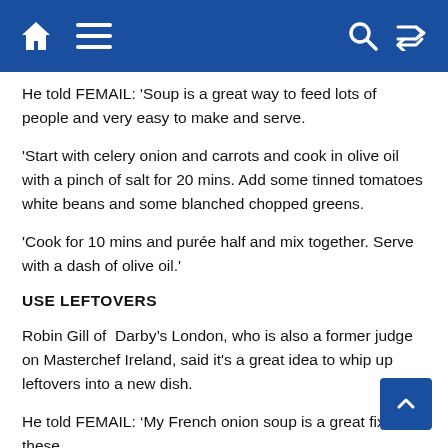Home Menu Search Shuffle
He told FEMAIL: 'Soup is a great way to feed lots of people and very easy to make and serve.
'Start with celery onion and carrots and cook in olive oil with a pinch of salt for 20 mins. Add some tinned tomatoes white beans and some blanched chopped greens.
'Cook for 10 mins and purée half and mix together. Serve with a dash of olive oil.'
USE LEFTOVERS
Robin Gill of  Darby's London, who is also a former judge on Masterchef Ireland, said it's a great idea to whip up leftovers into a new dish.
He told FEMAIL: 'My French onion soup is a great fix for these